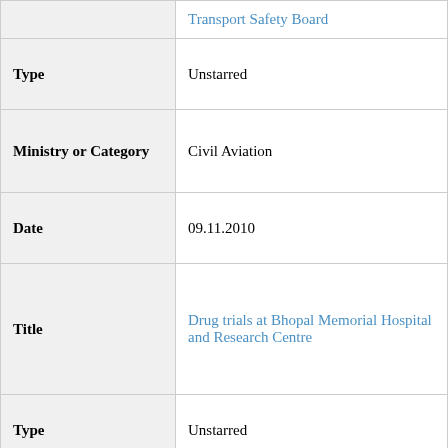| Field | Value |
| --- | --- |
| [Title link] | Transport Safety Board |
| Type | Unstarred |
| Ministry or Category | Civil Aviation |
| Date | 09.11.2010 |
| Title | Drug trials at Bhopal Memorial Hospital and Research Centre |
| Type | Unstarred |
| Ministry or Category | Health and Family Welfare |
| Date | 27.08.2010 |
| Title | Monitoring mechanism for |